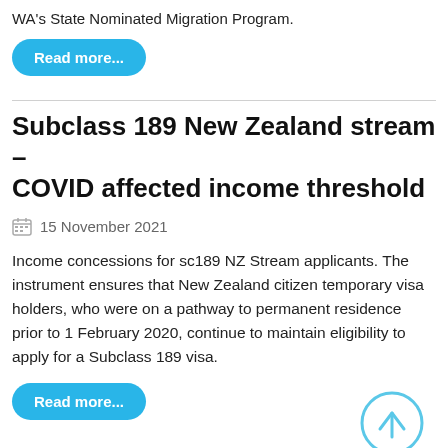WA's State Nominated Migration Program.
Read more...
Subclass 189 New Zealand stream – COVID affected income threshold
15 November 2021
Income concessions for sc189 NZ Stream applicants. The instrument ensures that New Zealand citizen temporary visa holders, who were on a pathway to permanent residence prior to 1 February 2020, continue to maintain eligibility to apply for a Subclass 189 visa.
Read more...
Major reforms to the AMEP